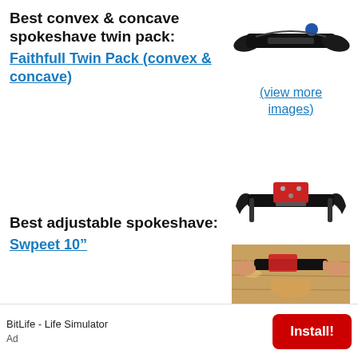Best convex & concave spokeshave twin pack:
Faithfull Twin Pack (convex & concave)
[Figure (photo): Photo of a spokeshave tool (convex/concave twin pack) - black metal tool]
(view more images)
Best adjustable spokeshave:
Swpeet 10"
[Figure (photo): Two photos of an adjustable spokeshave: top shows red adjustable spokeshave tool; bottom shows the tool being used on wood]
(view more images)
BitLife - Life Simulator
Ad
Install!